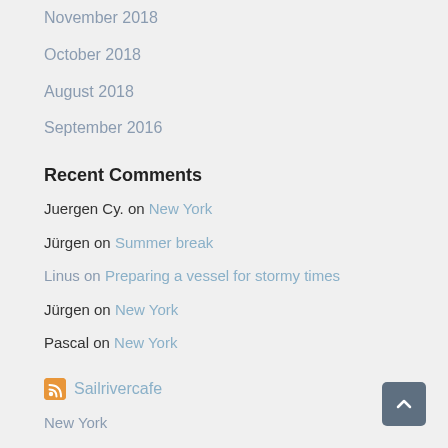November 2018
October 2018
August 2018
September 2016
Recent Comments
Juergen Cy. on New York
Jürgen on Summer break
Linus on Preparing a vessel for stormy times
Jürgen on New York
Pascal on New York
Sailrivercafe
New York
Schiff sturmfest machen